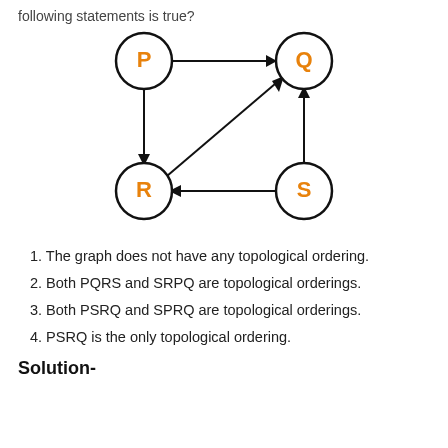following statements is true?
[Figure (network-graph): Directed graph with four nodes P, Q, R, S. Edges: P→Q (top), P→R (left, downward), P→Q diagonal from R area, S→Q (right, upward), S→R (bottom, leftward). Nodes are circles with orange labels.]
1. The graph does not have any topological ordering.
2. Both PQRS and SRPQ are topological orderings.
3. Both PSRQ and SPRQ are topological orderings.
4. PSRQ is the only topological ordering.
Solution-